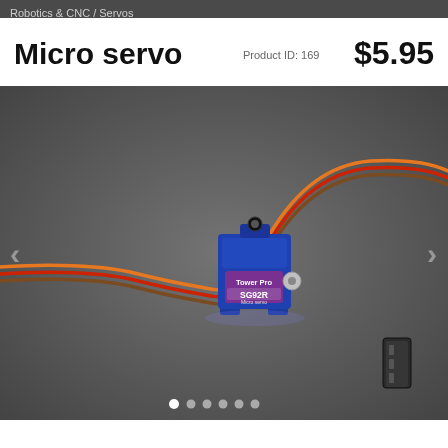Robotics & CNC / Servos
Micro servo
Product ID: 169   $5.95
[Figure (photo): Tower Pro SG92R Micro Servo motor with colorful (orange, red, brown) wire cable and black connector plug, on dark grey background. The servo body is blue plastic with a purple label reading 'Tower Pro SG92R Micro servo'.]